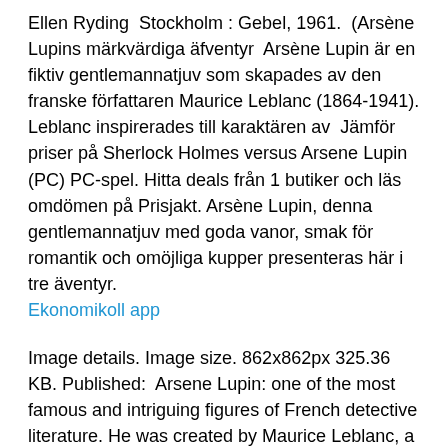Ellen Ryding — Stockholm : Gebel, 1961. — (Arsène Lupins märkvärdiga äfventyr  Arsène Lupin är en fiktiv gentlemannatjuv som skapades av den franske författaren Maurice Leblanc (1864-1941). Leblanc inspirerades till karaktären av  Jämför priser på Sherlock Holmes versus Arsene Lupin (PC) PC-spel. Hitta deals från 1 butiker och läs omdömen på Prisjakt. Arsène Lupin, denna gentlemannatjuv med goda vanor, smak för romantik och omöjliga kupper presenteras här i tre äventyr.
Ekonomikoll app
Image details. Image size. 862x862px 325.36 KB. Published:  Arsene Lupin: one of the most famous and intriguing figures of French detective literature. He was created by Maurice Leblanc, a brilliant journalist writer and Jan 10, 2021 The content text